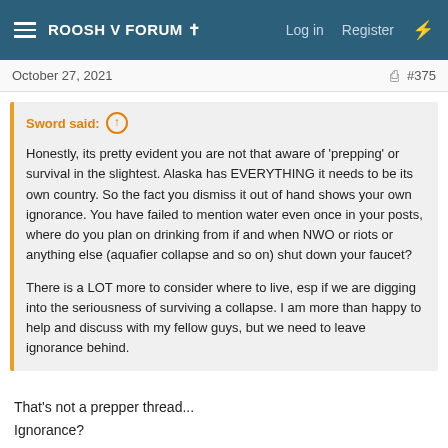ROOSH V FORUM † | Log in | Register
October 27, 2021 #375
Sword said: ↑

Honestly, its pretty evident you are not that aware of 'prepping' or survival in the slightest. Alaska has EVERYTHING it needs to be its own country. So the fact you dismiss it out of hand shows your own ignorance. You have failed to mention water even once in your posts, where do you plan on drinking from if and when NWO or riots or anything else (aquafier collapse and so on) shut down your faucet?

There is a LOT more to consider where to live, esp if we are digging into the seriousness of surviving a collapse. I am more than happy to help and discuss with my fellow guys, but we need to leave ignorance behind.
That's not a prepper thread...
Ignorance?